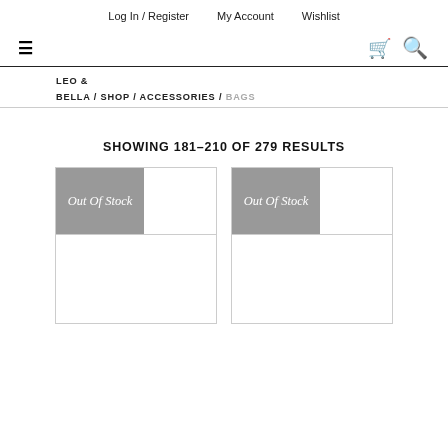Log In / Register   My Account   Wishlist
≡  🛒 🔍
LEO & BELLA / SHOP / ACCESSORIES / BAGS
SHOWING 181–210 OF 279 RESULTS
[Figure (screenshot): Two product cards each showing an 'Out Of Stock' badge in grey with white italic text, followed by a white image area below.]